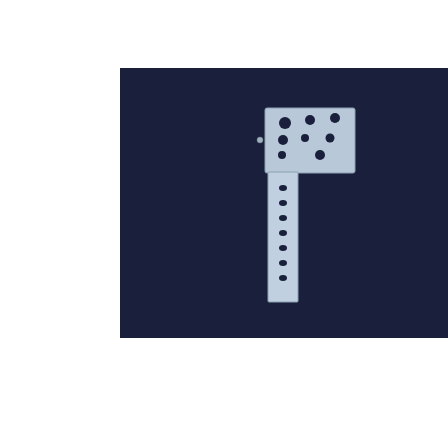2
S
.
P
1
[Figure (photo): Metal L-shaped bracket/hinge component with mounting holes, photographed against a dark navy blue background. The component appears to be a galvanized steel wall bracket with perforations.]
S #
U G S a r R C C i g h M
U g o
S